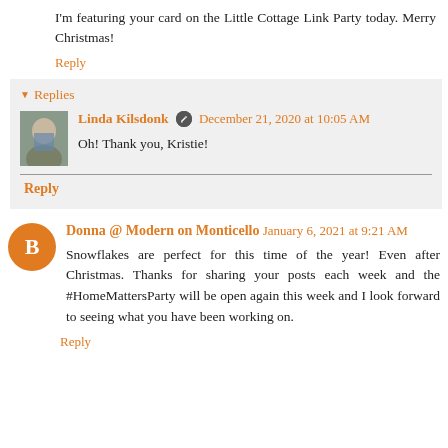I'm featuring your card on the Little Cottage Link Party today. Merry Christmas!
Reply
Replies
Linda Kilsdonk  December 21, 2020 at 10:05 AM
Oh! Thank you, Kristie!
Reply
Donna @ Modern on Monticello  January 6, 2021 at 9:21 AM
Snowflakes are perfect for this time of the year! Even after Christmas. Thanks for sharing your posts each week and the #HomeMattersParty will be open again this week and I look forward to seeing what you have been working on.
Reply